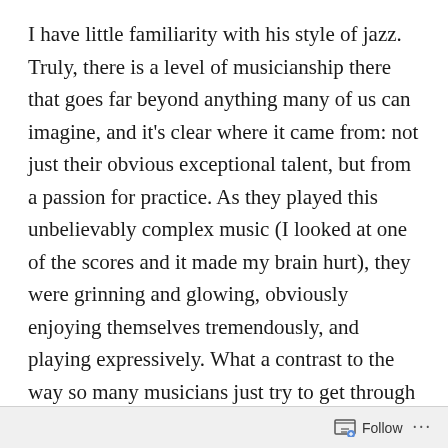I have little familiarity with his style of jazz. Truly, there is a level of musicianship there that goes far beyond anything many of us can imagine, and it's clear where it came from: not just their obvious exceptional talent, but from a passion for practice. As they played this unbelievably complex music (I looked at one of the scores and it made my brain hurt), they were grinning and glowing, obviously enjoying themselves tremendously, and playing expressively. What a contrast to the way so many musicians just try to get through a piece without messing up.
The amount of practice it takes to accomplish this may seem unimaginable. But if it were, they could not have done it. The fact that these guys can do what they do
Follow ···